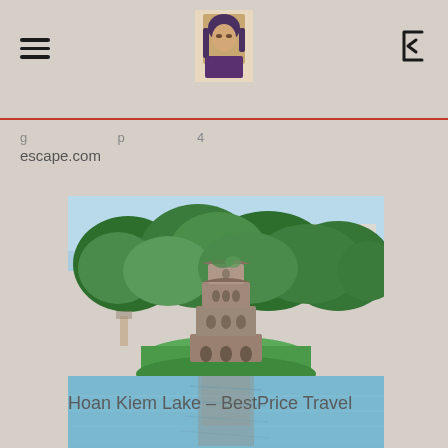escape.com
escape.com
[Figure (photo): Hoan Kiem Lake with Turtle Tower (Thap Rua) reflected in the water, surrounded by green trees, Hanoi, Vietnam. Photo credited to BestPrice Travel.]
Hoan Kiem Lake – BestPrice Travel